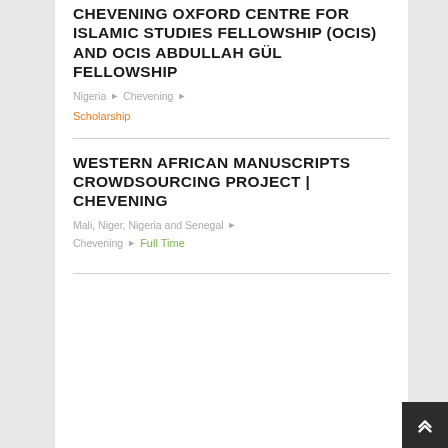CHEVENING OXFORD CENTRE FOR ISLAMIC STUDIES FELLOWSHIP (OCIS) AND OCIS ABDULLAH GÜL FELLOWSHIP
Nigeria ▶ Chevening ▶
Scholarship
WESTERN AFRICAN MANUSCRIPTS CROWDSOURCING PROJECT | CHEVENING
Mali, Niger, Nigeria and Senegal ▶
Chevening ▶ Full Time